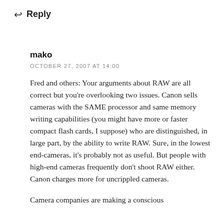↩ Reply
mako
OCTOBER 27, 2007 AT 14:00
Fred and others: Your arguments about RAW are all correct but you're overlooking two issues. Canon sells cameras with the SAME processor and same memory writing capabilities (you might have more or faster compact flash cards, I suppose) who are distinguished, in large part, by the ability to write RAW. Sure, in the lowest end-cameras, it's probably not as useful. But people with high-end cameras frequently don't shoot RAW either. Canon charges more for uncrippled cameras.
Camera companies are making a conscious